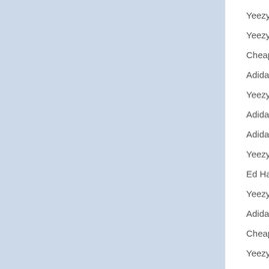Yeezy Shoes Clea
Yeezy Boosts 350
Cheap Yeezys Fo
Adidas Yeezy Pric
Yeezy 750 Black
Adidas Yeezy 350
Adidas Nmd Pink
Yeezy 750 Wholes
Ed Hardy Clothing
Yeezy Adidas Gre
Adidas Nmd Red
Cheap Yeezy Boo
Yeezy Amazon Cle
Yeezy Adidas Gre
Cheap Coach Pur
Coach Large Tote
Blue Coach Handb